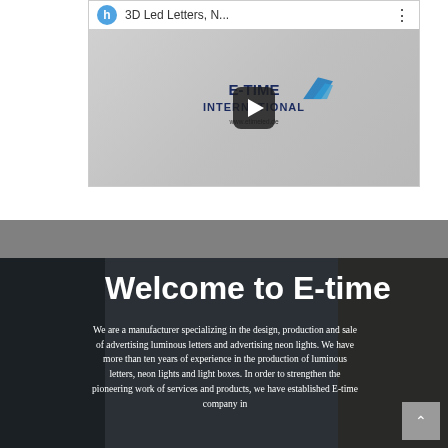[Figure (screenshot): YouTube-style video thumbnail showing '3D Led Letters, N...' title with a play button overlay, E-TIME INTERNATIONAL logo visible in preview]
Welcome to E-time
We are a manufacturer specializing in the design, production and sale of advertising luminous letters and advertising neon lights. We have more than ten years of experience in the production of luminous letters, neon lights and light boxes. In order to strengthen the pioneering work of services and products, we have established E-time company in